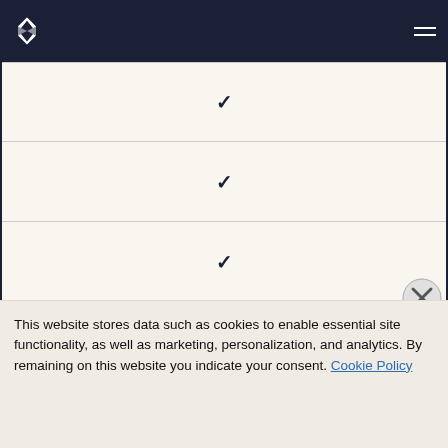Navigation header with logo and menu
| ✓ |
| ✓ |
| ✓ |
| Success Plan |
| Standard Plan (Available add-on) |
| Standard Plan (Available add-on) |
This website stores data such as cookies to enable essential site functionality, as well as marketing, personalization, and analytics. By remaining on this website you indicate your consent. Cookie Policy